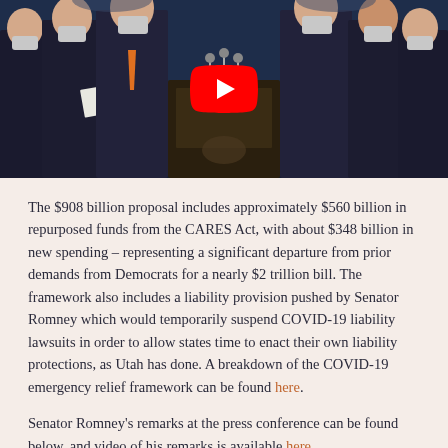[Figure (photo): Photo of several people in suits and masks standing at a press conference podium; a YouTube play button overlay is visible in the center of the image.]
The $908 billion proposal includes approximately $560 billion in repurposed funds from the CARES Act, with about $348 billion in new spending – representing a significant departure from prior demands from Democrats for a nearly $2 trillion bill. The framework also includes a liability provision pushed by Senator Romney which would temporarily suspend COVID-19 liability lawsuits in order to allow states time to enact their own liability protections, as Utah has done. A breakdown of the COVID-19 emergency relief framework can be found here.
Senator Romney's remarks at the press conference can be found below, and video of his remarks is available here.
"COVID-19 has created a crisis, and in a crisis, people expect Congress to